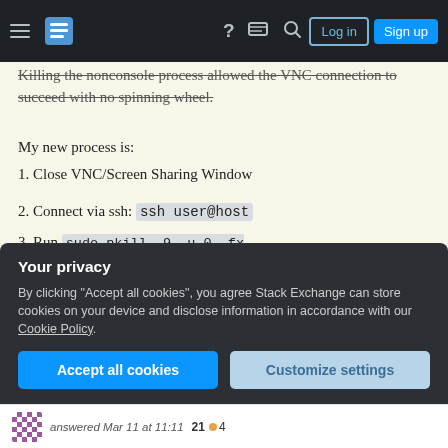Stack Exchange navigation bar with hamburger menu, logo, help, chat, search, Log in, Sign up buttons
Killing the nonconsole process allowed the VNC connection to succeed with no spinning wheel.
My new process is:
1. Close VNC/Screen Sharing Window
2. Connect via ssh: ssh user@host
3. Run sudo pkill -9 -u 0 -fx '/System/Library/CoreServices/loginwindow.app/Contents/MacOS/loginwindow'
4. Connect using VNC as usual
Your privacy
By clicking “Accept all cookies”, you agree Stack Exchange can store cookies on your device and disclose information in accordance with our Cookie Policy.
Accept all cookies | Customize settings